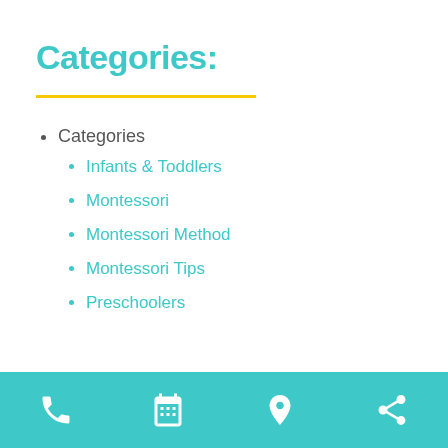Categories:
Categories
Infants & Toddlers
Montessori
Montessori Method
Montessori Tips
Preschoolers
Navigation bar with phone, calendar, location, and share icons